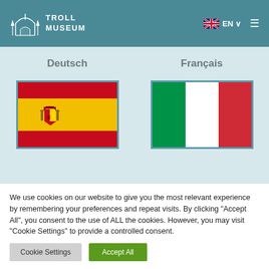[Figure (logo): Troll Museum logo with white castle/arch illustration and text 'TROLL MUSEUM' in white uppercase letters on teal header background]
[Figure (illustration): UK flag icon with 'EN' text and dropdown arrow, and hamburger menu icon on the right side of the teal header]
Deutsch
Français
[Figure (illustration): Spanish flag with red top stripe, yellow middle stripe with coat of arms, and red bottom stripe]
[Figure (illustration): Italian flag with green, white, and red vertical stripes]
We use cookies on our website to give you the most relevant experience by remembering your preferences and repeat visits. By clicking "Accept All", you consent to the use of ALL the cookies. However, you may visit "Cookie Settings" to provide a controlled consent.
Cookie Settings
Accept All